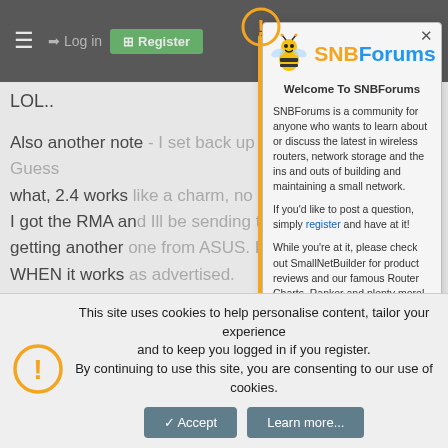≡  → Log in  ⊞ Register
LOL..
Also another note - I set back up my R6300 Netgear. Guess what, 2.4 works like a charm, no issues.
I got the RMA and Ill be sending this back and hopefully getting another one from ASUS. I really like the product, WHEN it works as advertised.
@ngerasimatos - Yeah, my readings are about the same while it is on the laptop cooler, significantly hotter when not on the cooler. So much so, its hot to the touch. I would keep
[Figure (screenshot): SNBForums modal popup with bee mascot logo. Title: Welcome To SNBForums. Body text: SNBForums is a community for anyone who wants to learn about or discuss the latest in wireless routers, network storage and the ins and outs of building and maintaining a small network. If you'd like to post a question, simply register and have at it! While you're at it, please check out SmallNetBuilder for product reviews and our famous Router Charts, Ranker and plenty more! Orange warning icon in top-left corner. X close button top-right.]
This site uses cookies to help personalise content, tailor your experience and to keep you logged in if you register.
By continuing to use this site, you are consenting to our use of cookies.
Accept    Learn more...